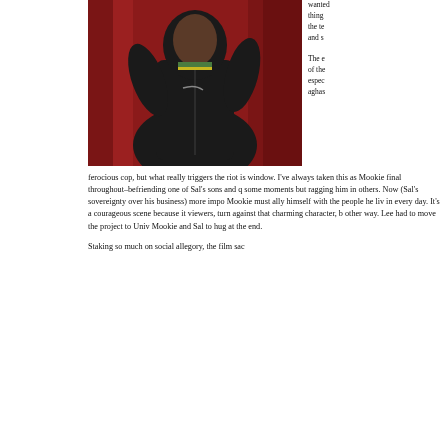[Figure (photo): Person wearing a black zip-up hoodie with a green and yellow striped collar, standing in front of a red curtain background, arms raised slightly.]
wanted thing the te and s The e of the espec aghas ferocious cop, but what really triggers the riot is window. I've always taken this as Mookie final throughout–befriending one of Sal's sons and q some moments but ragging him in others. Now (Sal's sovereignty over his business) more impo Mookie must ally himself with the people he liv in every day. It's a courageous scene because it viewers, turn against that charming character, b other way. Lee had to move the project to Univ Mookie and Sal to hug at the end.
Staking so much on social allegory, the film sac